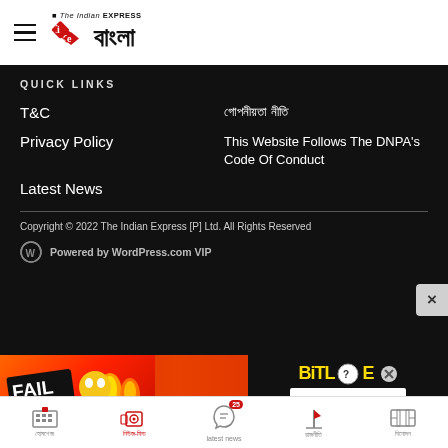IE বাংলা (The Indian Express)
QUICK LINKS
T&C
গোপনীয়তা নীতি
Privacy Policy
This Website Follows The DNPA's Code Of Conduct
Latest News
Copyright © 2022 The Indian Express [P] Ltd. All Rights Reserved
Powered by WordPress.com VIP
[Figure (screenshot): BitLife advertisement banner: FAIL text with cartoon character, flames, and 'START A NEW LIFE' text on red background]
Bottom navigation bar with icons: হোমপেজ, নিউজ-ফিড, latest news (badge 25), রাজনীতি, বিনোদন